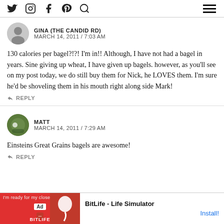Social media icons: Twitter, Instagram, Facebook, Pinterest, Search, Hamburger menu
GINA (THE CANDID RD)
MARCH 14, 2011 / 7:03 AM
130 calories per bagel?!?! I'm in!! Although, I have not had a bagel in years. Sine giving up wheat, I have given up bagels. however, as you'll see on my post today, we do still buy them for Nick, he LOVES them. I'm sure he'd be shoveling them in his mouth right along side Mark!
REPLY
MATT
MARCH 14, 2011 / 7:29 AM
Einsteins Great Grains bagels are awesome!
REPLY
[Figure (screenshot): Ad banner for BitLife - Life Simulator app]